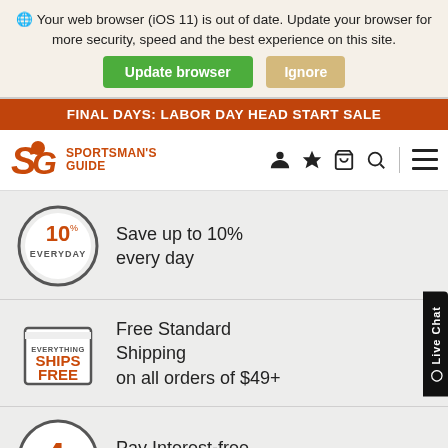Your web browser (iOS 11) is out of date. Update your browser for more security, speed and the best experience on this site.
Update browser   Ignore
FINAL DAYS: LABOR DAY HEAD START SALE
[Figure (logo): Sportsman's Guide SG logo with antler icon]
[Figure (infographic): 10% EVERYDAY circle badge - Save up to 10% every day]
Save up to 10% every day
[Figure (infographic): Everything Ships Free box badge]
Free Standard Shipping on all orders of $49+
[Figure (infographic): 4-Pay circle badge]
Pay Interest-free with 4-Pay
[Figure (infographic): Members-only circle badge (partially visible)]
Members-only